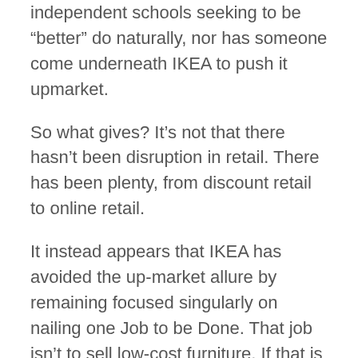independent schools seeking to be “better” do naturally, nor has someone come underneath IKEA to push it upmarket.
So what gives? It’s not that there hasn’t been disruption in retail. There has been plenty, from discount retail to online retail.
It instead appears that IKEA has avoided the up-market allure by remaining focused singularly on nailing one Job to be Done. That job isn’t to sell low-cost furniture. If that is all that it was doing, surely low-cost entrants from China could disrupt it from below.
The Job that IKEA has focused on, rather, is the idea that “We need to furnish this apartment today!” IKEA engages its own designers to create furniture kits that customers can retrieve from the warehouse